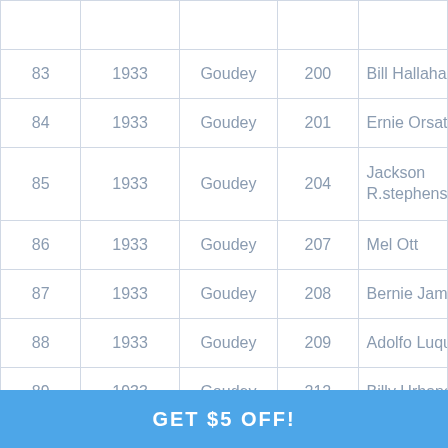| 83 | 1933 | Goudey | 200 | Bill Hallahan |
| 84 | 1933 | Goudey | 201 | Ernie Orsatti |
| 85 | 1933 | Goudey | 204 | Jackson R.stephenson |
| 86 | 1933 | Goudey | 207 | Mel Ott |
| 87 | 1933 | Goudey | 208 | Bernie James |
| 88 | 1933 | Goudey | 209 | Adolfo Luque |
| 89 | 1933 | Goudey | 212 | Billy Urbanski |
| 90 | 1934 | Goudey | 25 | Roger Cramer |
GET $5 OFF!